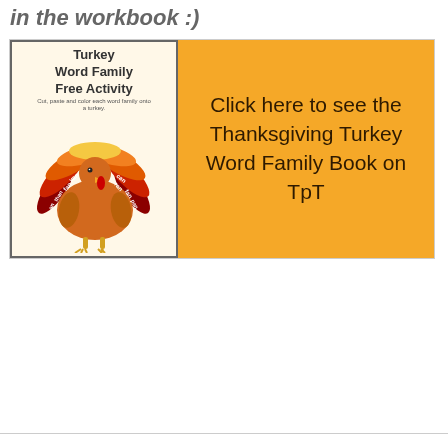in the workbook :)
[Figure (illustration): Promotional banner for Turkey Word Family Free Activity and link to Thanksgiving Turkey Word Family Book on TpT. Left side shows a cartoon turkey with colored feathers labeled with word family words (fan, van, than, an, can, ran, fan, pan). Right side has orange background with text: Click here to see the Thanksgiving Turkey Word Family Book on TpT]